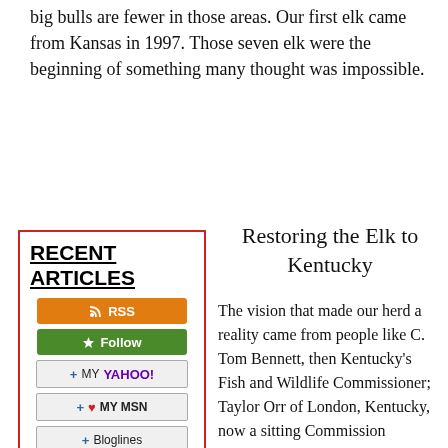big bulls are fewer in those areas. Our first elk came from Kansas in 1997. Those seven elk were the beginning of something many thought was impossible.
[Figure (infographic): Sidebar box with red border titled RECENT ARTICLES, containing RSS, Follow, My Yahoo!, My MSN, and Bloglines subscription buttons, and a partial link 'The Right']
Restoring the Elk to Kentucky
The vision that made our herd a reality came from people like C. Tom Bennett, then Kentucky's Fish and Wildlife Commissioner; Taylor Orr of London, Kentucky, now a sitting Commission member; the Rocky Mountain Elk Foundation